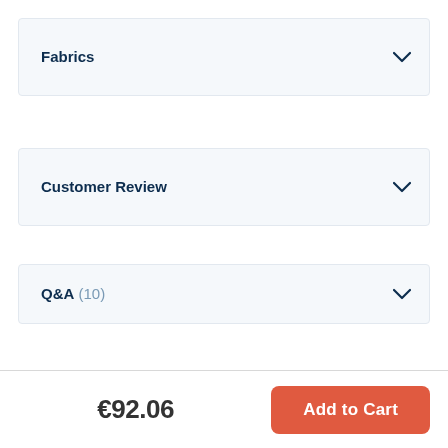Fabrics
Customer Review
Q&A (10)
€92.06
Add to Cart